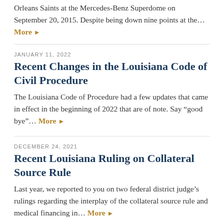Orleans Saints at the Mercedes-Benz Superdome on September 20, 2015. Despite being down nine points at the… More ▶
JANUARY 11, 2022
Recent Changes in the Louisiana Code of Civil Procedure
The Louisiana Code of Procedure had a few updates that came in effect in the beginning of 2022 that are of note. Say "good bye"… More ▶
DECEMBER 24, 2021
Recent Louisiana Ruling on Collateral Source Rule
Last year, we reported to you on two federal district judge's rulings regarding the interplay of the collateral source rule and medical financing in… More ▶
NOVEMBER